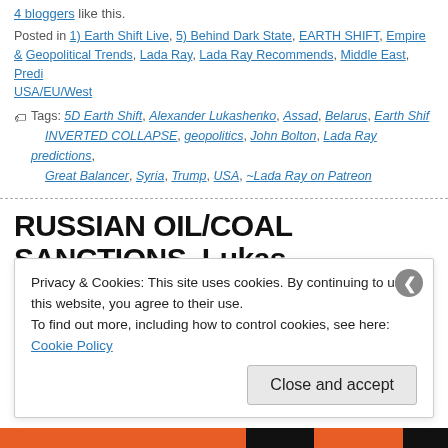4 bloggers like this.
Posted in 1) Earth Shift Live, 5) Behind Dark State, EARTH SHIFT, Empire, Geopolitical Trends, Lada Ray, Lada Ray Recommends, Middle East, Predictions, USA/EU/West
Tags: 5D Earth Shift, Alexander Lukashenko, Assad, Belarus, Earth Shift, INVERTED COLLAPSE, geopolitics, John Bolton, Lada Ray predictions, Great Balancer, Syria, Trump, USA, ~Lada Ray on Patreon
RUSSIAN OIL/COAL SANCTIONS, Lukas & End of Ukraine Pipeline Dream (ESP12...)
MAY 15  Posted by Lada Ray
Privacy & Cookies: This site uses cookies. By continuing to use this website, you agree to their use. To find out more, including how to control cookies, see here: Cookie Policy
Close and accept